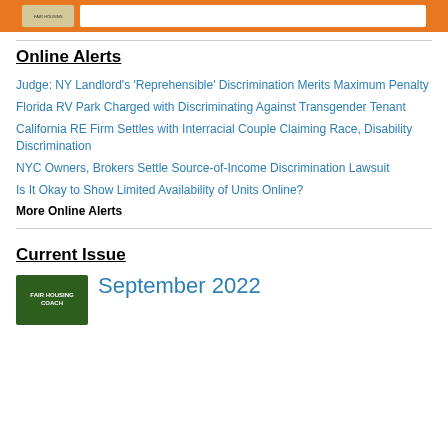[Figure (illustration): Orange banner with a card/flyer image and a white input box, partial view at top of page]
Online Alerts
Judge: NY Landlord's 'Reprehensible' Discrimination Merits Maximum Penalty
Florida RV Park Charged with Discriminating Against Transgender Tenant
California RE Firm Settles with Interracial Couple Claiming Race, Disability Discrimination
NYC Owners, Brokers Settle Source-of-Income Discrimination Lawsuit
Is It Okay to Show Limited Availability of Units Online?
More Online Alerts
Current Issue
[Figure (illustration): Fair Housing Coach magazine cover, green background with yellow text]
September 2022